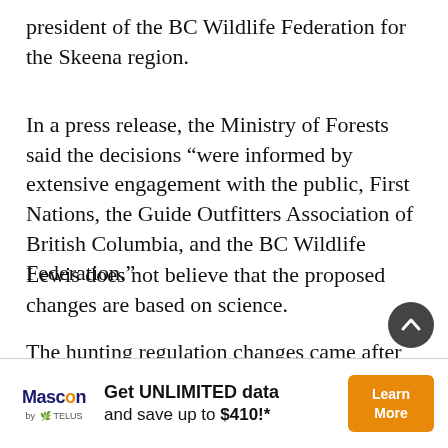president of the BC Wildlife Federation for the Skeena region.
In a press release, the Ministry of Forests said the decisions “were informed by extensive engagement with the public, First Nations, the Guide Outfitters Association of British Columbia, and the BC Wildlife Federation.”
Lewis does not believe that the proposed changes are based on science.
The hunting regulation changes came after the Blueberry River First Nation won a court case against the province that claimed that the cumulative effects of industrial development
[Figure (infographic): Advertisement banner for Mascon by TELUS: 'Get UNLIMITED data and save up to $410!*' with a Learn More button]